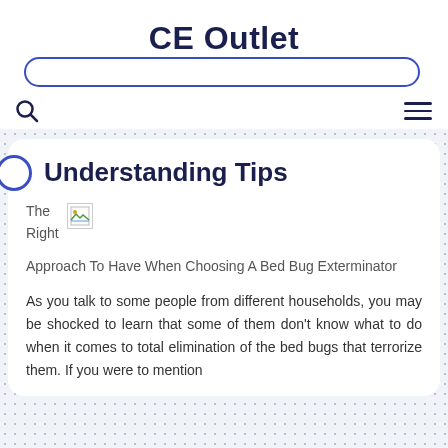CE Outlet
Understanding Tips
The Right Approach To Have When Choosing A Bed Bug Exterminator
As you talk to some people from different households, you may be shocked to learn that some of them don't know what to do when it comes to total elimination of the bed bugs that terrorize them. If you were to mention